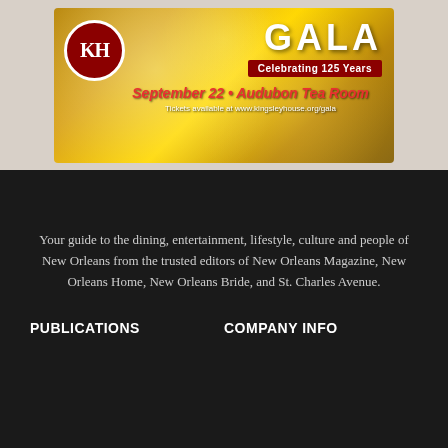[Figure (illustration): Kingsley House Gala advertisement banner on golden bokeh background. Shows KH logo in red circle, large GALA text, 'Celebrating 125 Years' in red box, 'September 22 • Audubon Tea Room' date line, and 'Tickets available at www.kingsleyhouse.org/gala']
Your guide to the dining, entertainment, lifestyle, culture and people of New Orleans from the trusted editors of New Orleans Magazine, New Orleans Home, New Orleans Bride, and St. Charles Avenue.
PUBLICATIONS
COMPANY INFO